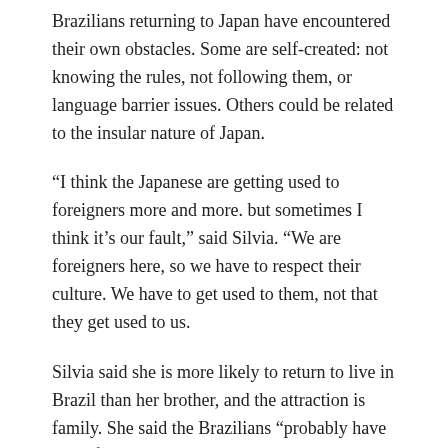Brazilians returning to Japan have encountered their own obstacles. Some are self-created: not knowing the rules, not following them, or language barrier issues. Others could be related to the insular nature of Japan.
“I think the Japanese are getting used to foreigners more and more. but sometimes I think it’s our fault,” said Silvia. “We are foreigners here, so we have to respect their culture. We have to get used to them, not that they get used to us.
Silvia said she is more likely to return to live in Brazil than her brother, and the attraction is family. She said the Brazilians “probably have more fun because the Japanese work a lot.” But she said Japan was the winner when it came to quality of life, pointing to huge social inequality in Brazil linked to skin color.
“I prefer Japanese culture,” Silvia said. “People respect each other here, and if you make an effort to work, you can find a job; you can have your business – buy your house or your car. In